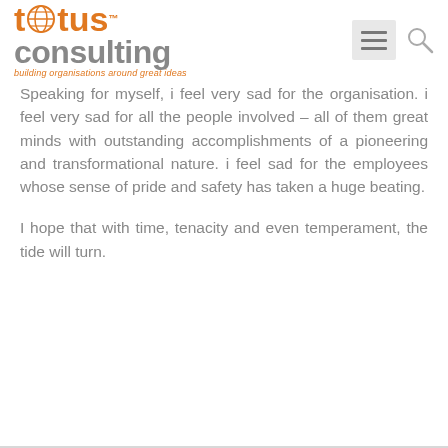[Figure (logo): Totus Consulting logo with orange globe icon, gray 'consulting' text, and orange italic tagline 'building organisations around great ideas'. Top right shows a hamburger menu icon and search icon.]
Speaking for myself, i feel very sad for the organisation. i feel very sad for all the people involved – all of them great minds with outstanding accomplishments of a pioneering and transformational nature. i feel sad for the employees whose sense of pride and safety has taken a huge beating.
I hope that with time, tenacity and even temperament, the tide will turn.